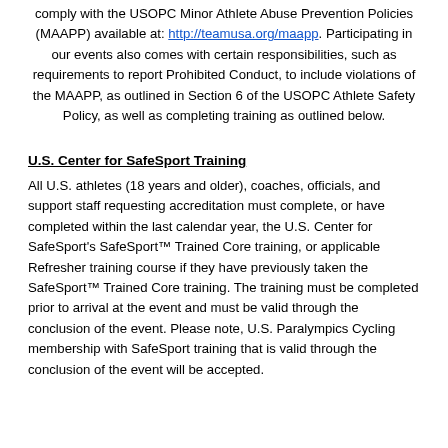comply with the USOPC Minor Athlete Abuse Prevention Policies (MAAPP) available at: http://teamusa.org/maapp. Participating in our events also comes with certain responsibilities, such as requirements to report Prohibited Conduct, to include violations of the MAAPP, as outlined in Section 6 of the USOPC Athlete Safety Policy, as well as completing training as outlined below.
U.S. Center for SafeSport Training
All U.S. athletes (18 years and older), coaches, officials, and support staff requesting accreditation must complete, or have completed within the last calendar year, the U.S. Center for SafeSport's SafeSport™ Trained Core training, or applicable Refresher training course if they have previously taken the SafeSport™ Trained Core training. The training must be completed prior to arrival at the event and must be valid through the conclusion of the event. Please note, U.S. Paralympics Cycling membership with SafeSport training that is valid through the conclusion of the event will be accepted.